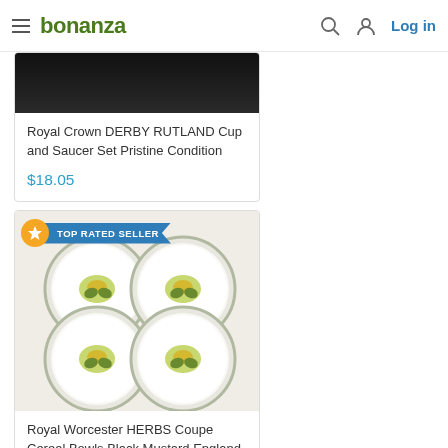bonanza — Log in
[Figure (photo): Partially visible product image (dark/black, cropped at top) for Royal Crown Derby Rutland Cup and Saucer listing]
Royal Crown DERBY RUTLAND Cup and Saucer Set Pristine Condition
$18.05
[Figure (photo): Four white ceramic bowls with floral herb pattern (yellow flowers, green leaves, decorative border) arranged in a 2x2 grid on a white surface — Royal Worcester HERBS Coupe Cereal Bowls product listing with TOP RATED SELLER badge]
Royal Worcester HERBS Coupe Cereal Bowls Black Mustard England ~ Set of 4